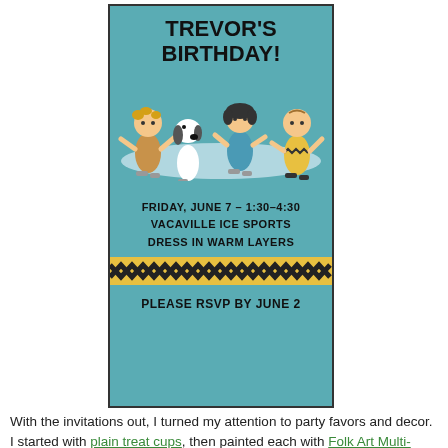[Figure (illustration): Birthday party invitation card with teal background. Title reads TREVOR'S BIRTHDAY! with Peanuts characters (Sally, Snoopy, Lucy, Charlie Brown) ice skating on a white oval. Event info: FRIDAY, JUNE 7 - 1:30-4:30 / VACAVILLE ICE SPORTS / DRESS IN WARM LAYERS. Yellow and black zigzag stripe divider. Bottom: PLEASE RSVP BY JUNE 2]
With the invitations out, I turned my attention to party favors and decor. I started with plain treat cups, then painted each with Folk Art Multi-Surface Paint. I did two coats to get good coverage...